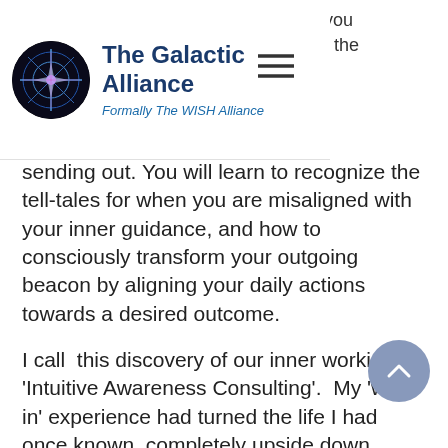The Galactic Alliance — Formally The WISH Alliance
sending out. You will learn to recognize the tell-tales for when you are misaligned with your inner guidance, and how to consciously transform your outgoing beacon by aligning your daily actions towards a desired outcome.
I call  this discovery of our inner workings 'Intuitive Awareness Consulting'.  My 'walk-in' experience had turned the life I had once known, completely upside down, pushing me on my spiritual path.
Over time I became increasingly aware of how my inner guidance